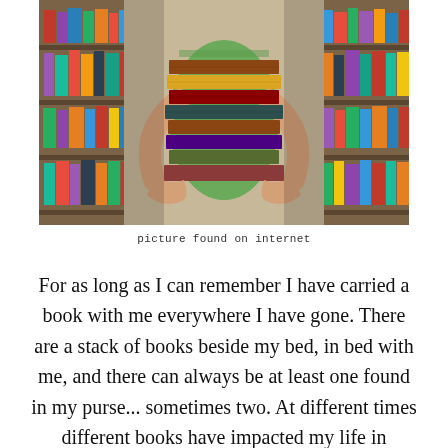[Figure (photo): A person in a green striped shirt carrying a large stack of books between two library bookshelves filled with colorful books.]
picture found on internet
For as long as I can remember I have carried a book with me everywhere I have gone. There are a stack of books beside my bed, in bed with me, and there can always be at least one found in my purse... sometimes two. At different times different books have impacted my life in different ways, but today I wanted to share with y'all the 5 books that have impacted my life the most: